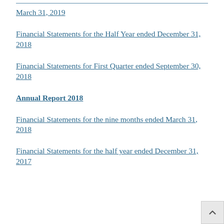March 31, 2019
Financial Statements for the Half Year ended December 31, 2018
Financial Statements for First Quarter ended September 30, 2018
Annual Report 2018
Financial Statements for the nine months ended March 31, 2018
Financial Statements for the half year ended December 31, 2017